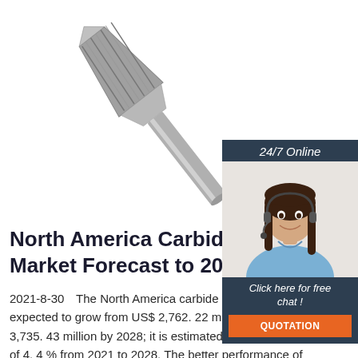[Figure (photo): Carbide drill bit / rotary burr tool shown diagonally on white background]
[Figure (infographic): 24/7 Online chat widget with a customer service agent photo, 'Click here for free chat!' text, and orange QUOTATION button]
North America Carbide Tools Market Forecast to 2028
2021-8-30  The North America carbide tools market is expected to grow from US$ 2,762. 22 million in 2021 to US$ 3,735. 43 million by 2028; it is estimated to grow at a CAGR of 4. 4 % from 2021 to 2028. The better performance of carbide